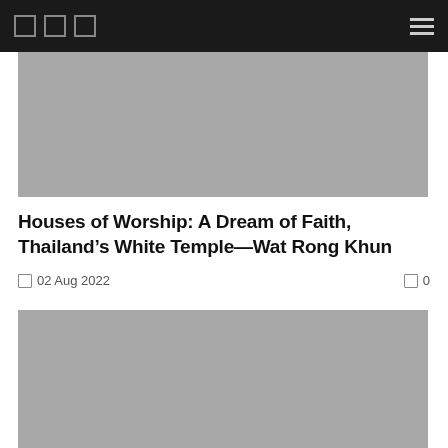Navigation bar with icons and hamburger menu
[Figure (photo): Hero image placeholder, gray rectangle]
Houses of Worship: A Dream of Faith, Thailand’s White Temple—Wat Rong Khun
02 Aug 2022   0
[Figure (photo): Second article image placeholder, gray rectangle]